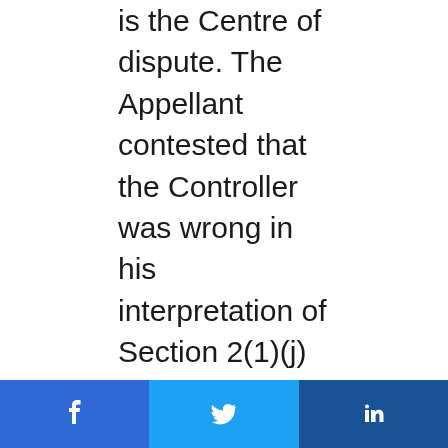is the Centre of dispute. The Appellant contested that the Controller was wrong in his interpretation of Section 2(1)(j) as he ignored settled principles of law contained in case laws, the Manual of Patent Office Practice and Procedure and other material. Furthermore the detailed response submitted by Huawei to the initial objections raised were also ignored by the Controller, as per the Appellant. The Controller failed to appreciate that prior art documents D1 and D3, neither alone, nor in combination disclose the features of the amended claims of the
[Figure (other): Social share buttons: Facebook, Twitter, LinkedIn]